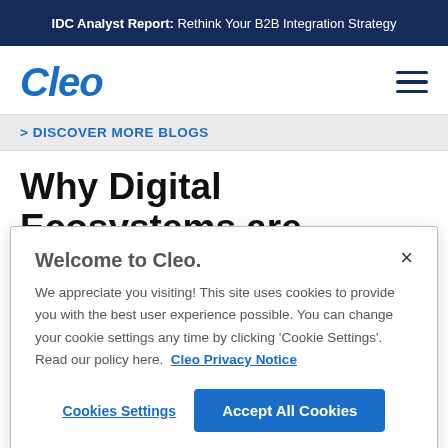IDC Analyst Report: Rethink Your B2B Integration Strategy
[Figure (logo): Cleo logo in bold italic blue text with hamburger menu icon]
> DISCOVER MORE BLOGS
Why Digital Ecosystems are
Welcome to Cleo. We appreciate you visiting! This site uses cookies to provide you with the best user experience possible. You can change your cookie settings any time by clicking 'Cookie Settings'. Read our policy here. Cleo Privacy Notice
Cookies Settings | Accept All Cookies